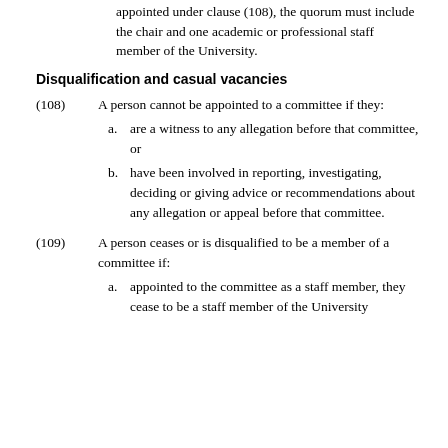appointed under clause (108), the quorum must include the chair and one academic or professional staff member of the University.
Disqualification and casual vacancies
(108)  A person cannot be appointed to a committee if they:
a. are a witness to any allegation before that committee, or
b. have been involved in reporting, investigating, deciding or giving advice or recommendations about any allegation or appeal before that committee.
(109)  A person ceases or is disqualified to be a member of a committee if:
a. appointed to the committee as a staff member, they cease to be a staff member of the University